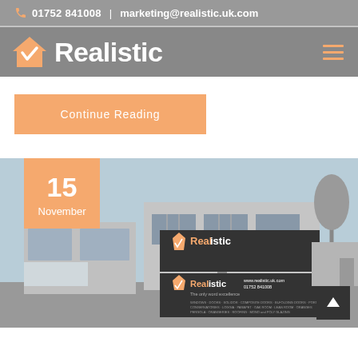01752 841008  |  marketing@realistic.uk.com
[Figure (logo): Realistic company logo with house/checkmark icon and name in white text on gray background]
Continue Reading
[Figure (photo): Exterior photo of Realistic showroom building with company signage, date badge showing 15 November overlaid in orange]
15 November